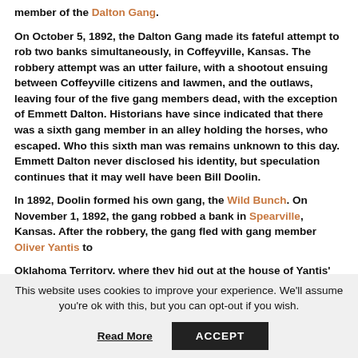member of the Dalton Gang.
On October 5, 1892, the Dalton Gang made its fateful attempt to rob two banks simultaneously, in Coffeyville, Kansas. The robbery attempt was an utter failure, with a shootout ensuing between Coffeyville citizens and lawmen, and the outlaws, leaving four of the five gang members dead, with the exception of Emmett Dalton. Historians have since indicated that there was a sixth gang member in an alley holding the horses, who escaped. Who this sixth man was remains unknown to this day. Emmett Dalton never disclosed his identity, but speculation continues that it may well have been Bill Doolin.
In 1892, Doolin formed his own gang, the Wild Bunch. On November 1, 1892, the gang robbed a bank in Spearville, Kansas. After the robbery, the gang fled with gang member Oliver Yantis to
Oklahoma Territory, where they hid out at the house of Yantis' sister. Less than one month later, the gang was
This website uses cookies to improve your experience. We'll assume you're ok with this, but you can opt-out if you wish.
Read More
ACCEPT